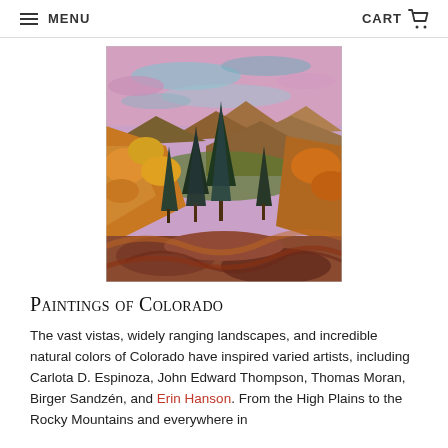MENU   CART
[Figure (illustration): Oil painting of a Colorado mountain landscape with pine trees in the foreground, golden autumn foliage, rocky mountains in the background, and a pink and blue sky with clouds.]
Paintings of Colorado
The vast vistas, widely ranging landscapes, and incredible natural colors of Colorado have inspired varied artists, including Carlota D. Espinoza, John Edward Thompson, Thomas Moran, Birger Sandzén, and Erin Hanson. From the High Plains to the Rocky Mountains and everywhere in